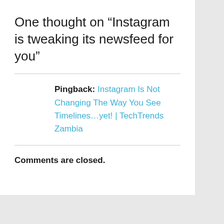One thought on “Instagram is tweaking its newsfeed for you”
Pingback: Instagram Is Not Changing The Way You See Timelines…yet! | TechTrends Zambia
Comments are closed.